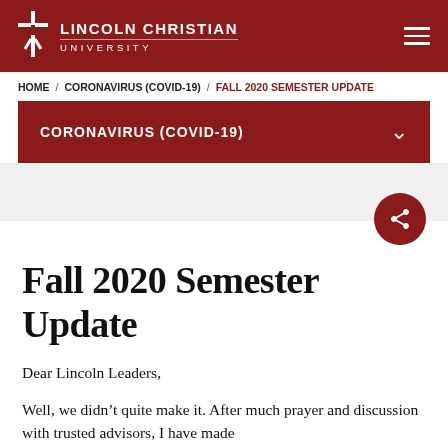LINCOLN CHRISTIAN UNIVERSITY
HOME / CORONAVIRUS (COVID-19) / FALL 2020 SEMESTER UPDATE
CORONAVIRUS (COVID-19)
Fall 2020 Semester Update
Dear Lincoln Leaders,
Well, we didn’t quite make it. After much prayer and discussion with trusted advisors, I have made